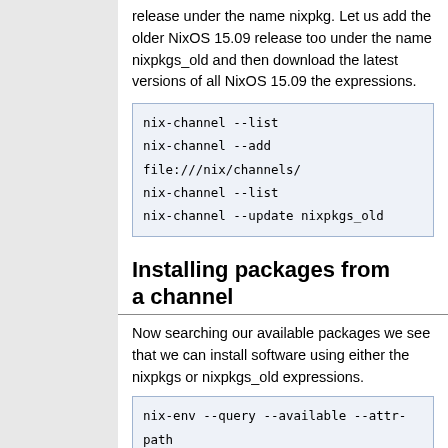release under the name nixpkg. Let us add the older NixOS 15.09 release too under the name nixpkgs_old and then download the latest versions of all NixOS 15.09 the expressions.
nix-channel --list
nix-channel --add file:///nix/channels/
nix-channel --list
nix-channel --update nixpkgs_old
Installing packages from a channel
Now searching our available packages we see that we can install software using either the nixpkgs or nixpkgs_old expressions.
nix-env --query --available --attr-path
Let's replace our git built and installed from the unstable (nixpkgs) expression with one built and installed from the...